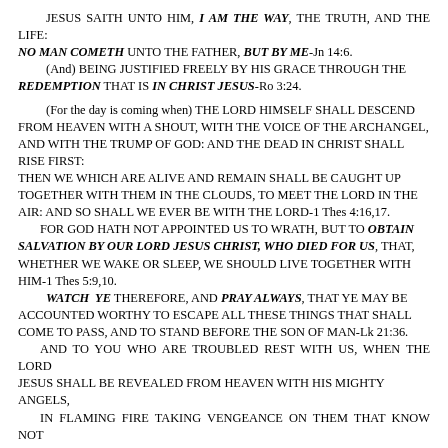JESUS SAITH UNTO HIM, I AM THE WAY, THE TRUTH, AND THE LIFE: NO MAN COMETH UNTO THE FATHER, BUT BY ME-Jn 14:6. (And) BEING JUSTIFIED FREELY BY HIS GRACE THROUGH THE REDEMPTION THAT IS IN CHRIST JESUS-Ro 3:24.
(For the day is coming when) THE LORD HIMSELF SHALL DESCEND FROM HEAVEN WITH A SHOUT, WITH THE VOICE OF THE ARCHANGEL, AND WITH THE TRUMP OF GOD: AND THE DEAD IN CHRIST SHALL RISE FIRST: THEN WE WHICH ARE ALIVE AND REMAIN SHALL BE CAUGHT UP TOGETHER WITH THEM IN THE CLOUDS, TO MEET THE LORD IN THE AIR: AND SO SHALL WE EVER BE WITH THE LORD-1 Thes 4:16,17. FOR GOD HATH NOT APPOINTED US TO WRATH, BUT TO OBTAIN SALVATION BY OUR LORD JESUS CHRIST, WHO DIED FOR US, THAT, WHETHER WE WAKE OR SLEEP, WE SHOULD LIVE TOGETHER WITH HIM-1 Thes 5:9,10. WATCH YE THEREFORE, AND PRAY ALWAYS, THAT YE MAY BE ACCOUNTED WORTHY TO ESCAPE ALL THESE THINGS THAT SHALL COME TO PASS, AND TO STAND BEFORE THE SON OF MAN-Lk 21:36. AND TO YOU WHO ARE TROUBLED REST WITH US, WHEN THE LORD JESUS SHALL BE REVEALED FROM HEAVEN WITH HIS MIGHTY ANGELS, IN FLAMING FIRE TAKING VENGEANCE ON THEM THAT KNOW NOT GOD, AND THAT OBEY NOT THE GOSPEL OF OUR LORD JESUS CHRIST: WHO SHALL BE PUNISHED WITH EVERLASTING DESTRUCTION FROM THE PRESENCE OF THE LORD, AND FROM THE GLORY OF HIS POWER; WHEN HE SHALL COME TO BE GLORIFIED IN HIS SAINTS, AND TO